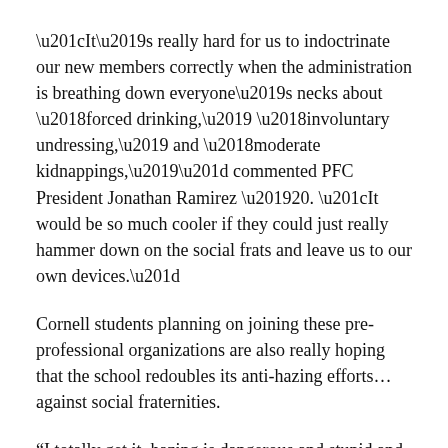“It’s really hard for us to indoctrinate our new members correctly when the administration is breathing down everyone’s necks about ‘forced drinking,’ ‘involuntary undressing,’ and ‘moderate kidnappings,’” commented PFC President Jonathan Ramirez ’20. “It would be so much cooler if they could just really hammer down on the social frats and leave us to our own devices.”
Cornell students planning on joining these pre-professional organizations are also really hoping that the school redoubles its anti-hazing efforts… against social fraternities.
“I totally get it, hazing is dangerous and stupid and unnecessary,” said Joanna Mason ’22. “But the administration needs to back off; I’m trying to get into a business frat for my own professional development and I really don’t care if that means getting sprayed with